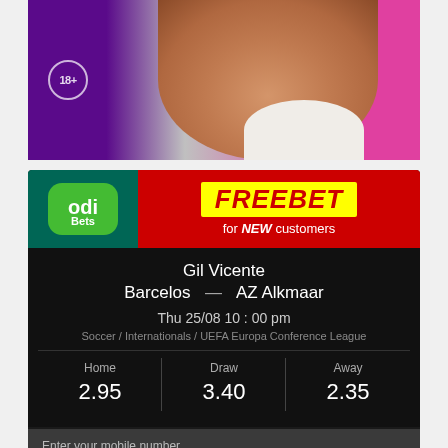[Figure (photo): Cropped photo of a pregnant woman's belly against a purple and pink background, with an 18+ age badge circle on the left side]
[Figure (infographic): OdiBets promotional banner: FREEBET for NEW customers. Match: Gil Vicente Barcelos — AZ Alkmaar, Thu 25/08 10:00 pm, Soccer / Internationals / UEFA Europa Conference League. Home 2.95, Draw 3.40, Away 2.35. Mobile number input field and CLAIM FREEBET NOW! button.]